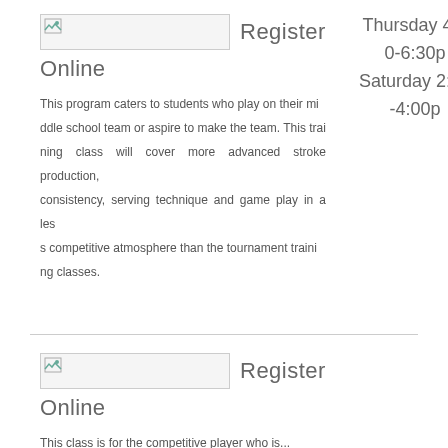[Figure (other): Placeholder image with broken image icon]
Register Online
This program caters to students who play on their middle school team or aspire to make the team. This training class will cover more advanced stroke production, consistency, serving technique and game play in a less competitive atmosphere than the tournament training classes.
Thursday 4:30-6:30p Saturday 2:00-4:00p
[Figure (other): Placeholder image with broken image icon]
Register Online
This class is for the competitive player who is...